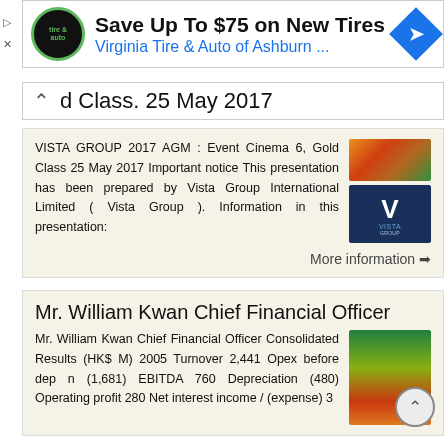[Figure (screenshot): Advertisement banner: tire and auto logo, 'Save Up To $75 on New Tires', 'Virginia Tire & Auto of Ashburn ...' with blue navigation arrow diamond icon]
d Class. 25 May 2017
VISTA GROUP 2017 AGM : Event Cinema 6, Gold Class 25 May 2017 Important notice This presentation has been prepared by Vista Group International Limited ( Vista Group ). Information in this presentation:
More information →
Mr. William Kwan Chief Financial Officer
Mr. William Kwan Chief Financial Officer Consolidated Results (HK$ M) 2005 Turnover 2,441 Opex before dep n (1,681) EBITDA 760 Depreciation (480) Operating profit 280 Net interest income / (expense) 3